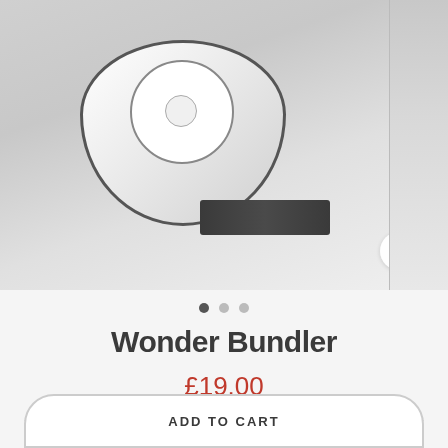[Figure (photo): Product photo of Wonder Bundler device — white cylindrical drum/reel with black O-ring and central hole, lying on its side with dark black chunky battery or accessory pieces in front, on a light grey background. A magnifier/zoom icon button appears in the bottom-right corner of the image. A partial second image is visible on the right edge.]
Wonder Bundler
£19.00
Shipping calculated at checkout.
ADD TO CART